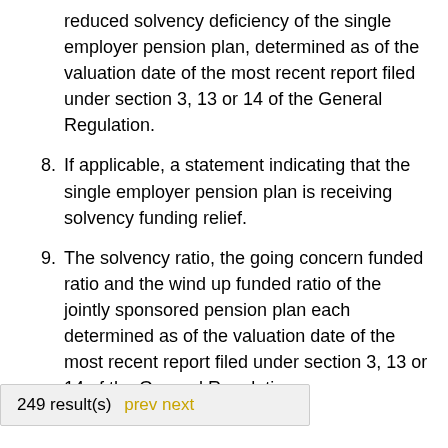reduced solvency deficiency of the single employer pension plan, determined as of the valuation date of the most recent report filed under section 3, 13 or 14 of the General Regulation.
8. If applicable, a statement indicating that the single employer pension plan is receiving solvency funding relief.
9. The solvency ratio, the going concern funded ratio and the wind up funded ratio of the jointly sponsored pension plan each determined as of the valuation date of the most recent report filed under section 3, 13 or 14 of the General Regulation.
249 result(s) prev next